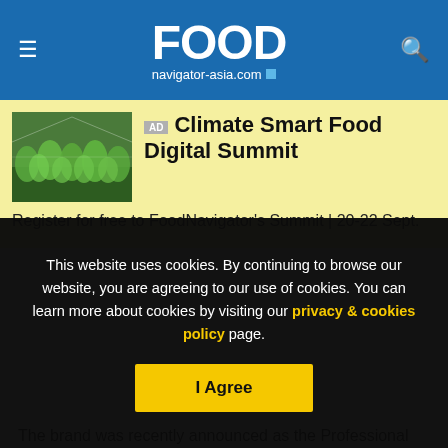FOOD navigator-asia.com
[Figure (screenshot): FoodNavigator-Asia website header with blue background, hamburger menu icon, FOOD navigator-asia.com logo, and search icon]
[Figure (photo): Greenhouse with green leafy plants growing in rows]
AD Climate Smart Food Digital Summit
Register for free to FoodNavigator's Summit | 20-22 Sept.
The brand was recently announced as the Professional Golfers' Association's (PGA) preferred vitamins, minerals, and nutritional supplements provider and will be supporting
This website uses cookies. By continuing to browse our website, you are agreeing to our use of cookies. You can learn more about cookies by visiting our privacy & cookies policy page.
I Agree